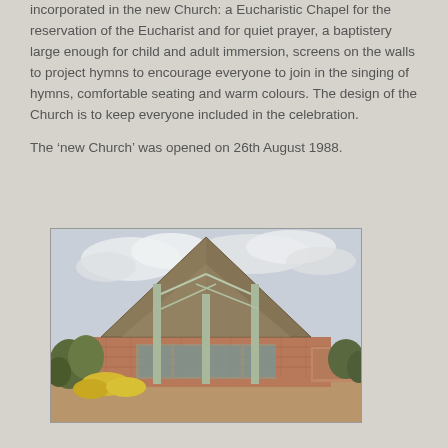incorporated in the new Church: a Eucharistic Chapel for the reservation of the Eucharist and for quiet prayer, a baptistery large enough for child and adult immersion, screens on the walls to project hymns to encourage everyone to join in the singing of hymns, comfortable seating and warm colours. The design of the Church is to keep everyone included in the celebration.

The ‘new Church’ was opened on 26th August 1988.
[Figure (photo): Exterior photograph of a modern church building with a distinctive tall triangular/peaked roof structure supported by pale green columns, brick walls with glass doors at the entrance, surrounded by gardens with yellow flowers and shrubs, cloudy sky in background.]